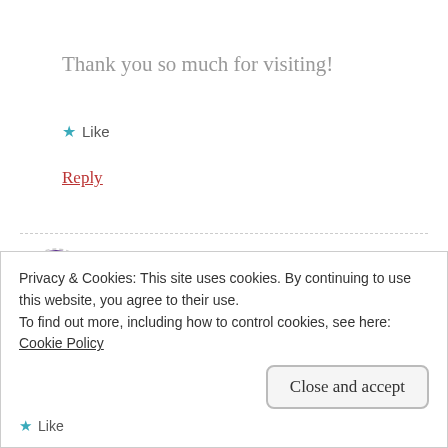Thank you so much for visiting!
★ Like
Reply
Stacey
NOVEMBER 12, 2018 AT 11:04 PM
Privacy & Cookies: This site uses cookies. By continuing to use this website, you agree to their use.
To find out more, including how to control cookies, see here:
Cookie Policy
Close and accept
★ Like